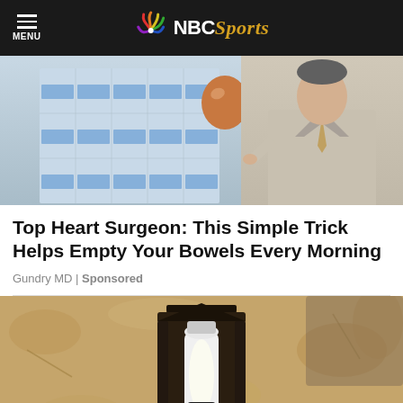MENU | NBC Sports
[Figure (photo): Photo of a person holding an egg over packaged water bottles, with a man in a suit standing nearby]
Top Heart Surgeon: This Simple Trick Helps Empty Your Bowels Every Morning
Gundry MD | Sponsored
[Figure (photo): Photo of an outdoor wall-mounted lantern light fixture with a smart bulb/camera on a textured stone wall]